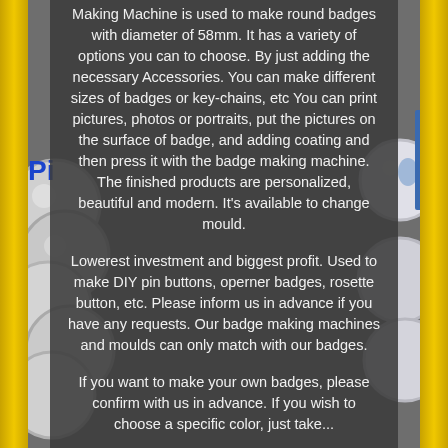[Figure (photo): Product listing page showing badge making machine content. Background shows silver/metal pin buttons and badges. Gold/yellow vertical strips on left and right edges. Blue 'Pi' text partially visible on left. Dark semi-transparent overlay panel in center with product description text.]
Making Machine is used to make round badges with diameter of 58mm. It has a variety of options you can to choose. By just adding the necessary Accessories. You can make different sizes of badges or key-chains, etc You can print pictures, photos or portraits, put the pictures on the surface of badge, and adding coating and then press it with the badge making machine. The finished products are personalized, beautiful and modern. It's available to change mould.

Lowerest investment and biggest profit. Used to make DIY pin buttons, operner badges, rosette button, etc. Please inform us in advance if you have any requests. Our badge making machines and moulds can only match with our badges.

If you want to make your own badges, please confirm with us in advance. If you wish to choose a specific color, just take...